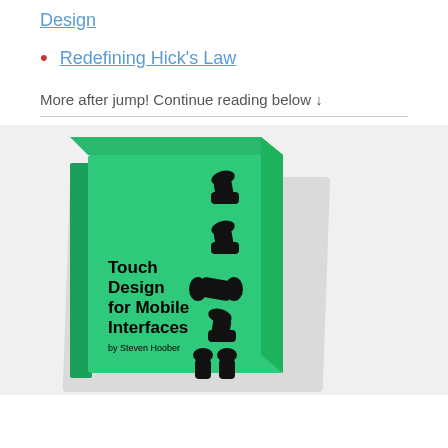Design
Redefining Hick's Law
More after jump! Continue reading below ↓
[Figure (photo): Cover of the book 'Touch Design for Mobile Interfaces by Steven Hoober', green hardcover with black silhouettes of hands holding phones, slightly tilted.]